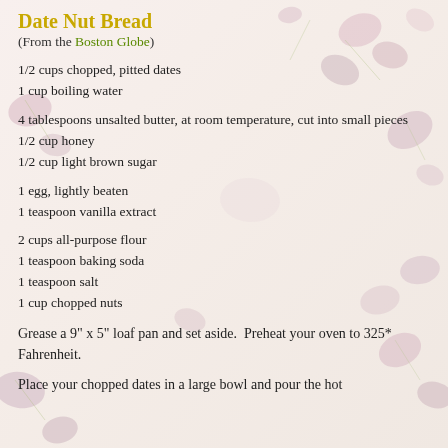Date Nut Bread
(From the Boston Globe)
1/2 cups chopped, pitted dates
1 cup boiling water
4 tablespoons unsalted butter, at room temperature, cut into small pieces
1/2 cup honey
1/2 cup light brown sugar
1 egg, lightly beaten
1 teaspoon vanilla extract
2 cups all-purpose flour
1 teaspoon baking soda
1 teaspoon salt
1 cup chopped nuts
Grease a 9" x 5" loaf pan and set aside.  Preheat your oven to 325* Fahrenheit.
Place your chopped dates in a large bowl and pour the hot